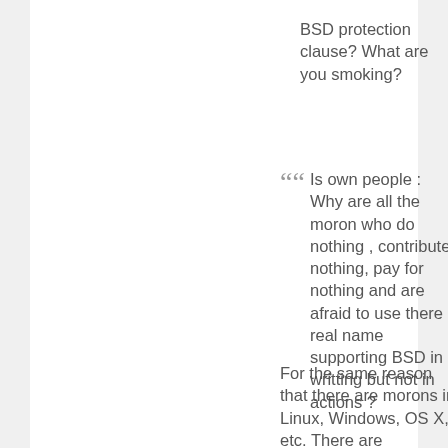BSD protection clause? What are you smoking?
Is own people : Why are all the moron who do nothing , contribute nothing, pay for nothing and are afraid to use there real name supporting BSD in writting but not in actions ?
For the same reason that there are morons in Linux, Windows, OS X, etc. There are